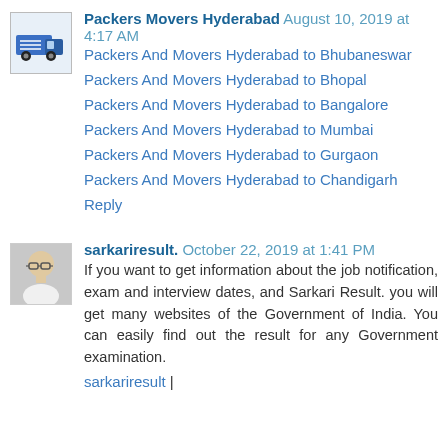Packers Movers Hyderabad August 10, 2019 at 4:17 AM
Packers And Movers Hyderabad to Bhubaneswar
Packers And Movers Hyderabad to Bhopal
Packers And Movers Hyderabad to Bangalore
Packers And Movers Hyderabad to Mumbai
Packers And Movers Hyderabad to Gurgaon
Packers And Movers Hyderabad to Chandigarh
Reply
sarkariresult. October 22, 2019 at 1:41 PM
If you want to get information about the job notification, exam and interview dates, and Sarkari Result. you will get many websites of the Government of India. You can easily find out the result for any Government examination.
sarkariresult |